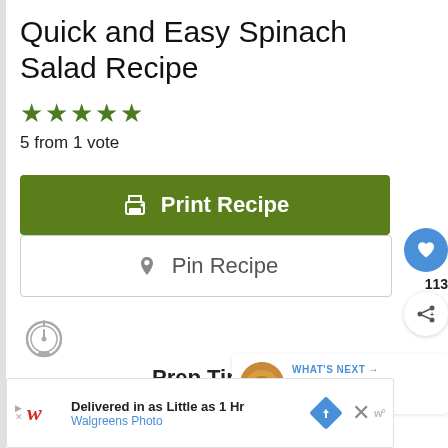Quick and Easy Spinach Salad Recipe
5 from 1 vote
Print Recipe
Pin Recipe
Prep Time
113
WHAT'S NEXT → Quick and Easy Spinac...
Delivered in as Little as 1 Hr Walgreens Photo